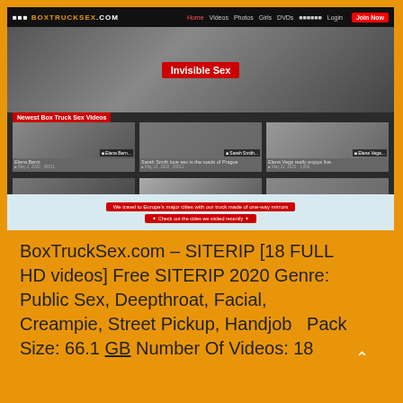[Figure (screenshot): Screenshot of BoxTruckSex.com website showing navigation bar, hero banner with 'Invisible Sex' label, video thumbnail grid with 6 thumbnails labeled 'Newest Box Truck Sex Videos', and a map section at the bottom with red call-to-action buttons.]
BoxTruckSex.com – SITERIP [18 FULL HD videos] Free SITERIP 2020 Genre: Public Sex, Deepthroat, Facial, Creampie, Street Pickup, Handjob   Pack Size: 66.1 GB Number Of Videos: 18